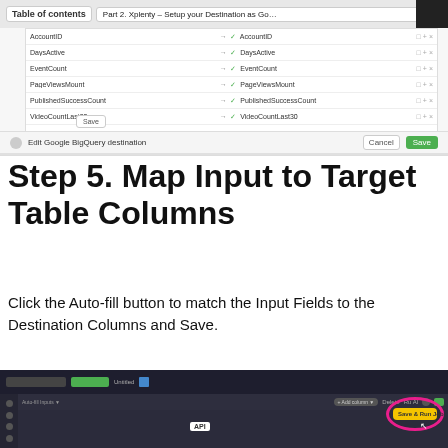[Figure (screenshot): Screenshot of Xplenty UI showing destination properties mapping table with fields: AccountID, DaysActive, EventCount, PageViewsMount, PublishedSuccessCount, VideoCountLast30. Below shows Edit Google BigQuery destination dialog with Cancel and Save buttons.]
Step 5. Map Input to Target Table Columns
Click the Auto-fill button to match the Input Fields to the Destination Columns and Save.
[Figure (screenshot): Screenshot of Xplenty job editor interface showing toolbar with Save & Run Job button highlighted with a pink circle, and an API badge visible.]